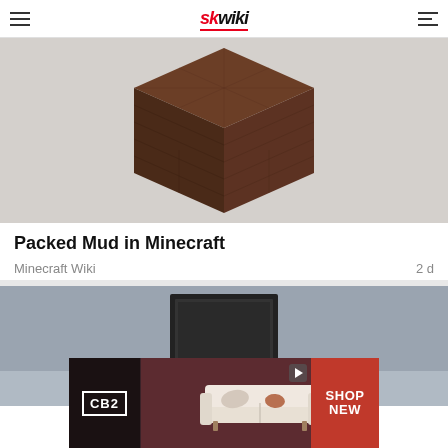skwiki
[Figure (photo): 3D-rendered Minecraft packed mud block on a light gray surface]
Packed Mud in Minecraft
Minecraft Wiki   2 d
[Figure (photo): Interior room with gray walls and a black-framed mirror/door]
[Figure (photo): CB2 advertisement showing a white sofa with text SHOP NEW]